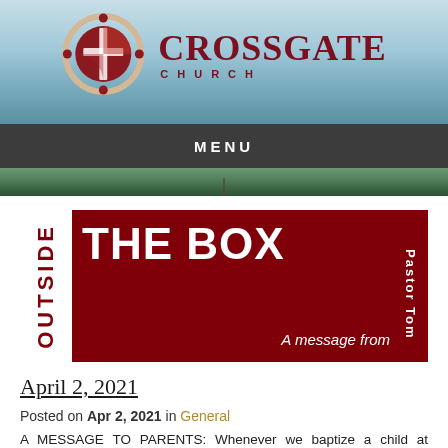[Figure (logo): Crossgate Church logo with cross-and-globe icon and church name in dark red serif font on sky/ocean background]
MENU
[Figure (other): Outside The Box - A message from Pastor Tom. Dark red banner with vertical OUTSIDE text and large THE BOX text.]
April 2, 2021
Posted on Apr 2, 2021 in General
A MESSAGE TO PARENTS: Whenever we baptize a child at Crossgate, we ask the congregation this question: "Do you as a